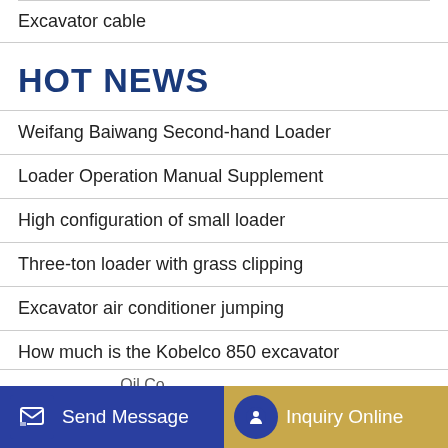Excavator cable
HOT NEWS
Weifang Baiwang Second-hand Loader
Loader Operation Manual Supplement
High configuration of small loader
Three-ton loader with grass clipping
Excavator air conditioner jumping
How much is the Kobelco 850 excavator
…Oil Co…
Send Message | Inquiry Online